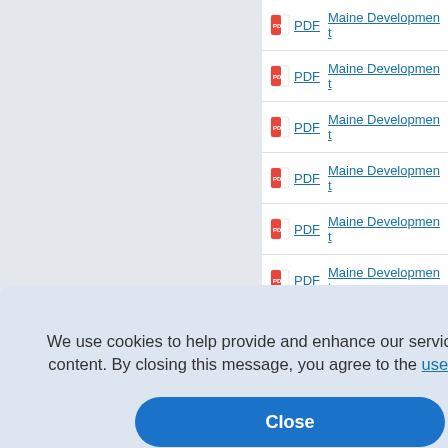PDF — Maine Development
PDF — Maine Development
PDF — Maine Development
PDF — Maine Development
PDF — Maine Development
PDF — Maine Development
PDF — Maine Development
We use cookies to help provide and enhance our service and tailor content. By closing this message, you agree to the use of cookies.
Close